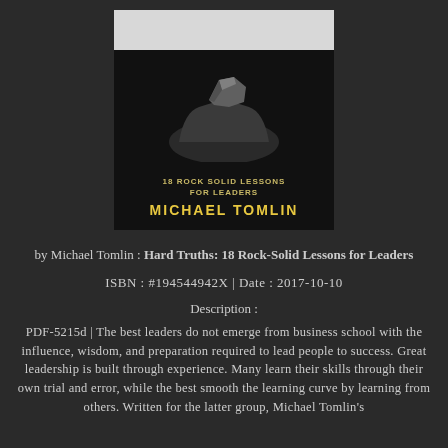[Figure (illustration): Book cover for 'Hard Truths: 18 Rock-Solid Lessons for Leaders' by Michael Tomlin. Dark background with hands holding a rock, gold text title and author name.]
by Michael Tomlin : Hard Truths: 18 Rock-Solid Lessons for Leaders
ISBN : #194544942X | Date : 2017-10-10
Description :
PDF-5215d | The best leaders do not emerge from business school with the influence, wisdom, and preparation required to lead people to success. Great leadership is built through experience. Many learn their skills through their own trial and error, while the best smooth the learning curve by learning from others. Written for the latter group, Michael Tomlin's